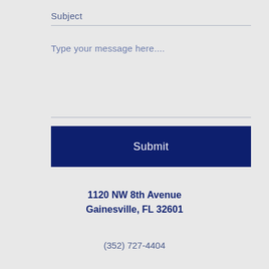Subject
Type your message here....
Submit
1120 NW 8th Avenue
Gainesville, FL 32601
(352) 727-4404